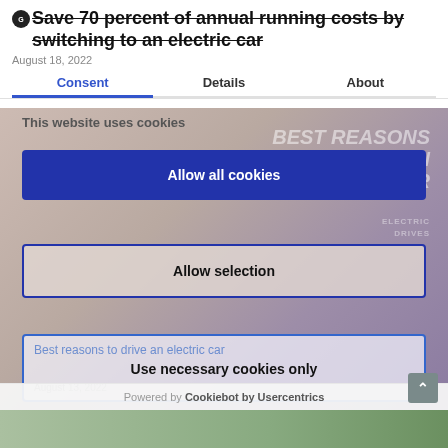Save 70 percent of annual running costs by switching to an electric car
August 18, 2022
Consent  Details  About
[Figure (screenshot): Cookie consent dialog overlay on a webpage about electric cars. Background shows promotional image with text 'BEST REASONS TO DRIVE AN ELECTRIC CAR - ELECTRIC DRIVES'. Dialog has three buttons: 'Allow all cookies' (blue filled), 'Allow selection' (outlined), and 'Use necessary cookies only' (outlined). Powered by Cookiebot by Usercentrics shown at bottom.]
This website uses cookies
Allow all cookies
Allow selection
Best reasons to drive an electric car
Use necessary cookies only
August 13, 2022
Powered by Cookiebot by Usercentrics